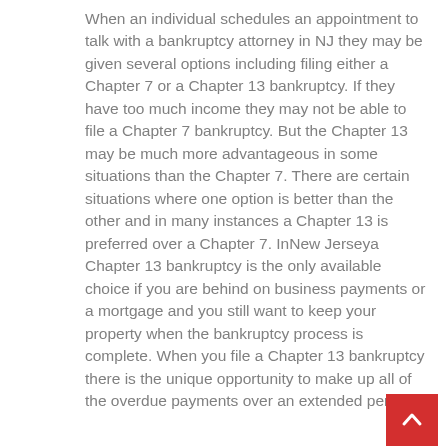When an individual schedules an appointment to talk with a bankruptcy attorney in NJ they may be given several options including filing either a Chapter 7 or a Chapter 13 bankruptcy. If they have too much income they may not be able to file a Chapter 7 bankruptcy. But the Chapter 13 may be much more advantageous in some situations than the Chapter 7. There are certain situations where one option is better than the other and in many instances a Chapter 13 is preferred over a Chapter 7. InNew Jerseya Chapter 13 bankruptcy is the only available choice if you are behind on business payments or a mortgage and you still want to keep your property when the bankruptcy process is complete. When you file a Chapter 13 bankruptcy there is the unique opportunity to make up all of the overdue payments over an extended period